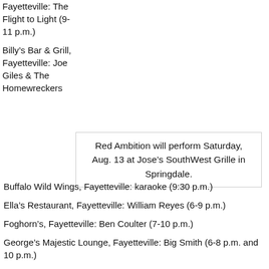Fayetteville: The Flight to Light (9-11 p.m.)
Billy's Bar & Grill, Fayetteville: Joe Giles & The Homewreckers
Red Ambition will perform Saturday, Aug. 13 at Jose's SouthWest Grille in Springdale.
Buffalo Wild Wings, Fayetteville: karaoke (9:30 p.m.)
Ella's Restaurant, Fayetteville: William Reyes (6-9 p.m.)
Foghorn's, Fayetteville: Ben Coulter (7-10 p.m.)
George's Majestic Lounge, Fayetteville: Big Smith (6-8 p.m. and 10 p.m.)
Greenhouse Grille: Walter Savage Group